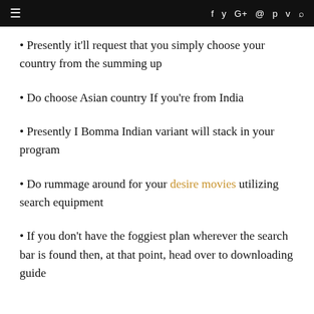≡  f  𝕥  G+  ⊙  𝒫  𝕧  🔍
Presently it'll request that you simply choose your country from the summing up
Do choose Asian country If you're from India
Presently I Bomma Indian variant will stack in your program
Do rummage around for your desire movies utilizing search equipment
If you don't have the foggiest plan wherever the search bar is found then, at that point, head over to downloading guide